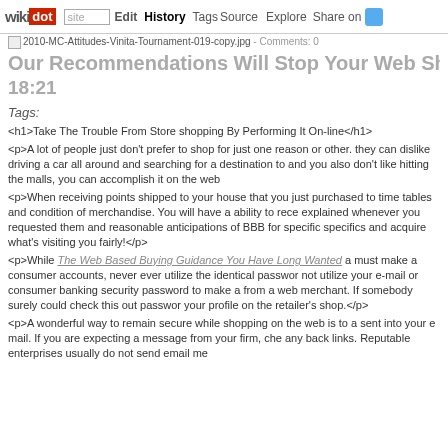wikidot | site | Edit | History | Tags | Source | Explore | Share on [Twitter]
2010-MC-Attitudes-Vinita-Tournament-019-copy.jpg - Comments: 0
Our Recommendations Will Stop Your Web Shop 18:21
Tags:
<h1>Take The Trouble From Store shopping By Performing It On-line</h1>
<p>A lot of people just don't prefer to shop for just one reason or other. they can dislike driving a car all around and searching for a destination to and you also don't like hitting the malls, you can accomplish it on the web
<p>When receiving points shipped to your house that you just purchased to time tables and condition of merchandise. You will have a ability to rece explained whenever you requested them and reasonable anticipations of BBB for specific specifics and acquire what's visiting you fairly!</p>
<p>While The Web Based Buying Guidance You Have Long Wanted a must make a consumer accounts, never ever utilize the identical passwor not utilize your e-mail or consumer banking security password to make a from a web merchant. If somebody surely could check this out passwor your profile on the retailer's shop.</p>
<p>A wonderful way to remain secure while shopping on the web is to a sent into your e mail. If you are expecting a message from your firm, che any back links. Reputable enterprises usually do not send email me